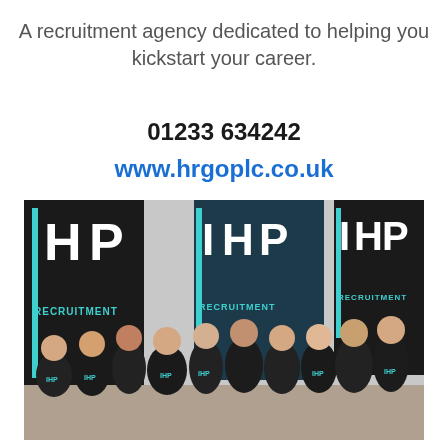A recruitment agency dedicated to helping you kickstart your career.
01233 634242
www.hrgoplc.co.uk
[Figure (photo): Group photo of approximately 13 people wearing black IHP Recruitment polo shirts, standing in front of IHP Recruitment branded banners with teal/turquoise logo lettering. Indoor office/event setting.]